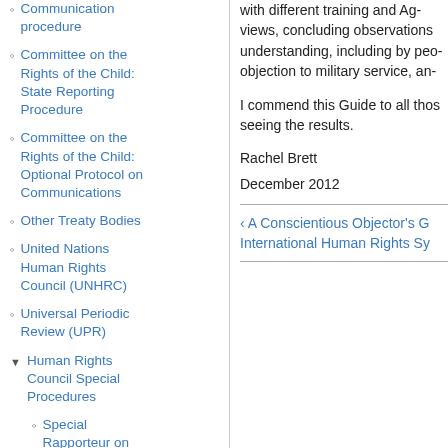Communication procedure
Committee on the Rights of the Child: State Reporting Procedure
Committee on the Rights of the Child: Optional Protocol on Communications
Other Treaty Bodies
United Nations Human Rights Council (UNHRC)
Universal Periodic Review (UPR)
Human Rights Council Special Procedures
Special Rapporteur on Freedom of Religion or Belief
with different training and Ag- views, concluding observations understanding, including by peo- objection to military service, an-
I commend this Guide to all thos seeing the results.
Rachel Brett
December 2012
‹ A Conscientious Objector's G International Human Rights Sy